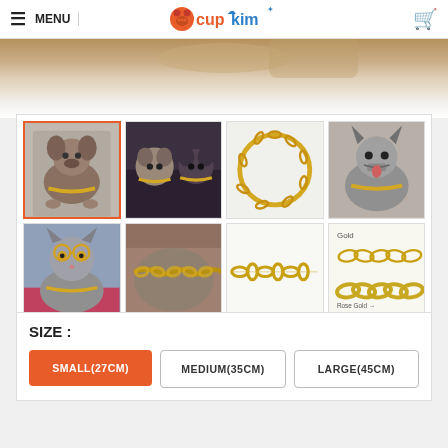MENU | Cupkim | Cart
[Figure (photo): Hero image showing puppies/dog feet on a light surface]
[Figure (photo): Gallery of 8 product photos showing dogs and cats wearing gold chain collars, plus product shots of the chain collar]
SIZE :
SMALL(27CM) — selected (orange button)
MEDIUM(35CM)
LARGE(45CM)